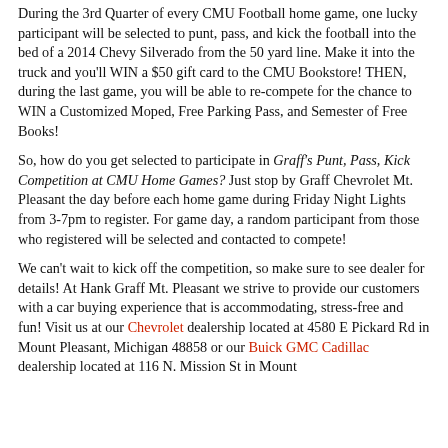During the 3rd Quarter of every CMU Football home game, one lucky participant will be selected to punt, pass, and kick the football into the bed of a 2014 Chevy Silverado from the 50 yard line. Make it into the truck and you'll WIN a $50 gift card to the CMU Bookstore! THEN, during the last game, you will be able to re-compete for the chance to WIN a Customized Moped, Free Parking Pass, and Semester of Free Books!
So, how do you get selected to participate in Graff's Punt, Pass, Kick Competition at CMU Home Games? Just stop by Graff Chevrolet Mt. Pleasant the day before each home game during Friday Night Lights from 3-7pm to register. For game day, a random participant from those who registered will be selected and contacted to compete!
We can't wait to kick off the competition, so make sure to see dealer for details! At Hank Graff Mt. Pleasant we strive to provide our customers with a car buying experience that is accommodating, stress-free and fun! Visit us at our Chevrolet dealership located at 4580 E Pickard Rd in Mount Pleasant, Michigan 48858 or our Buick GMC Cadillac dealership located at 116 N. Mission St in Mount Pleasant...